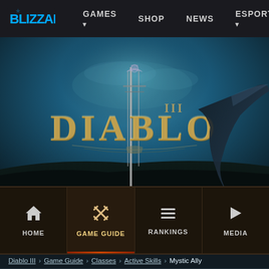[Figure (screenshot): Blizzard website top navigation bar with logo and links: GAMES, SHOP, NEWS, ESPORTS]
[Figure (photo): Diablo III hero banner image with dark blue/teal fantasy background, showing the Diablo III logo with ornate golden lettering]
[Figure (screenshot): Diablo III game navigation bar with four icons: HOME (house icon), GAME GUIDE (crossed swords icon, active), RANKINGS (menu icon), MEDIA (play icon). An orange/red active indicator bar appears under GAME GUIDE.]
Diablo III > Game Guide > Classes > Active Skills > Mystic Ally
[Figure (screenshot): Bottom panel showing the beginning of the Monk class page with golden/tan colored artistic background and the word MONK in large ornate letters]